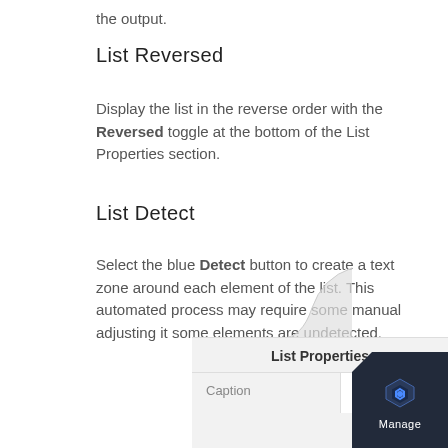the output.
List Reversed
Display the list in the reverse order with the Reversed toggle at the bottom of the List Properties section.
List Detect
Select the blue Detect button to create a text zone around each element of the list. This automated process may require some manual adjusting it some elements are undetected.
[Figure (screenshot): List Properties UI panel showing Caption label and Caption input field]